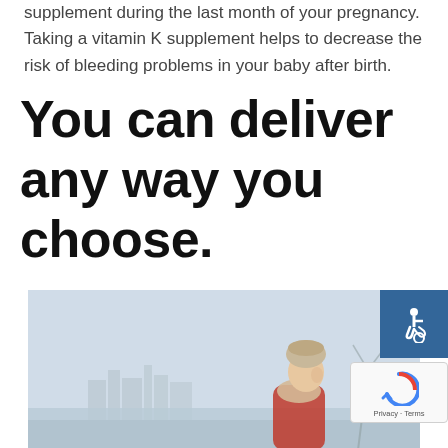supplement during the last month of your pregnancy. Taking a vitamin K supplement helps to decrease the risk of bleeding problems in your baby after birth.
You can deliver any way you choose.
[Figure (photo): A woman wearing a winter hat and scarf outdoors in a cold, wintery setting near water with a city skyline in the background.]